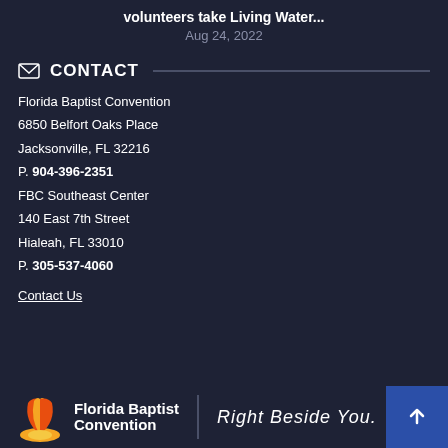volunteers take Living Water...
Aug 24, 2022
CONTACT
Florida Baptist Convention
6850 Belfort Oaks Place
Jacksonville, FL 32216

P. 904-396-2351

FBC Southeast Center
140 East 7th Street
Hialeah, FL 33010

P. 305-537-4060
Contact Us
[Figure (logo): Florida Baptist Convention logo with orange/yellow fan shell icon and tagline 'Right Beside You.' in script font]